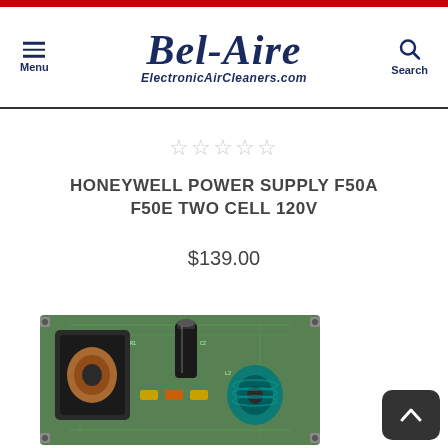Bel-Aire ElectronicAirCleaners.com
☆☆☆☆☆
HONEYWELL POWER SUPPLY F50A F50E TWO CELL 120V
$139.00
[Figure (photo): Photo of Honeywell power supply circuit board for F50A F50E Two Cell 120V, showing electronic components including coils, capacitors, and circuit board traces.]